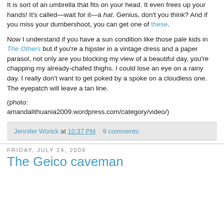It is sort of an umbrella that fits on your head. It even frees up your hands! It's called—wait for it—a hat. Genius, don't you think? And if you miss your dumbershoot, you can get one of these.
Now I understand if you have a sun condition like those pale kids in The Others but if you're a hipster in a vintage dress and a paper parasol, not only are you blocking my view of a beautiful day, you're chapping my already-chafed thighs. I could lose an eye on a rainy day. I really don't want to get poked by a spoke on a cloudless one. The eyepatch will leave a tan line.
(photo: amandalithuania2009.wordpress.com/category/video/)
Jennifer Worick at 10:37 PM   9 comments:
Friday, July 24, 2009
The Geico caveman